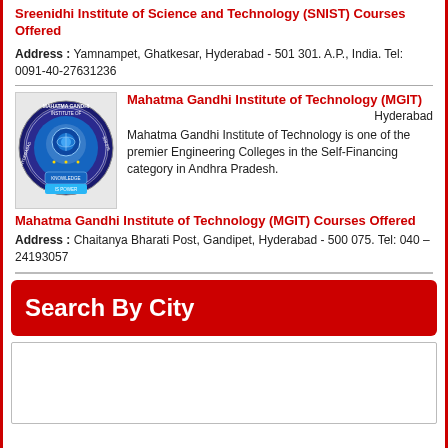Sreenidhi Institute of Science and Technology (SNIST) Courses Offered
Address : Yamnampet, Ghatkesar, Hyderabad - 501 301. A.P., India. Tel: 0091-40-27631236
[Figure (logo): Mahatma Gandhi Institute of Technology circular logo with blue center and text around the rim]
Mahatma Gandhi Institute of Technology (MGIT)
Hyderabad
Mahatma Gandhi Institute of Technology is one of the premier Engineering Colleges in the Self-Financing category in Andhra Pradesh.
Mahatma Gandhi Institute of Technology (MGIT) Courses Offered
Address : Chaitanya Bharati Post, Gandipet, Hyderabad - 500 075. Tel: 040 – 24193057
Search By City
[Figure (other): Empty white search box area]